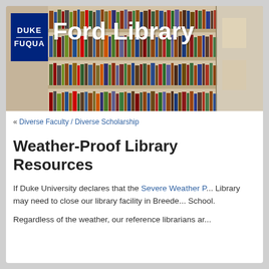[Figure (photo): Library bookshelves banner image with Duke Fuqua logo and Ford Library title text overlay]
« Diverse Faculty / Diverse Scholarship
Weather-Proof Library Resources
If Duke University declares that the Severe Weather P... Library may need to close our library facility in Breede... School.
Regardless of the weather, our reference librarians ar...